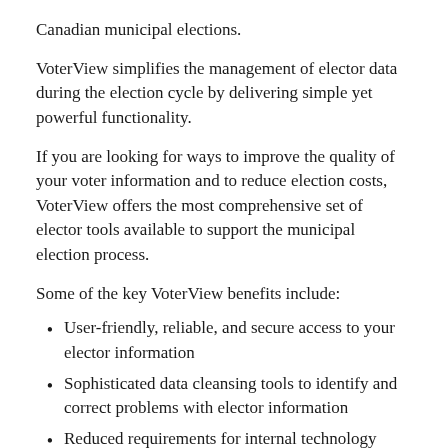Canadian municipal elections.
VoterView simplifies the management of elector data during the election cycle by delivering simple yet powerful functionality.
If you are looking for ways to improve the quality of your voter information and to reduce election costs, VoterView offers the most comprehensive set of elector tools available to support the municipal election process.
Some of the key VoterView benefits include:
User-friendly, reliable, and secure access to your elector information
Sophisticated data cleansing tools to identify and correct problems with elector information
Reduced requirements for internal technology support
Access to a comprehensive suite of election reports